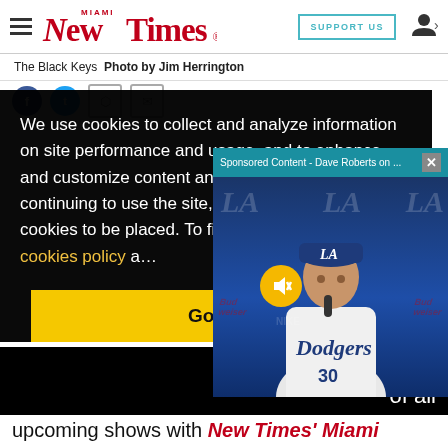Miami New Times | SUPPORT US
The Black Keys  Photo by Jim Herrington
We use cookies to collect and analyze information on site performance and usage, and to enhance and customize content and advertisements. By continuing to use the site, you agree to allow cookies to be placed. To find out more, visit our cookies policy and our privacy policy.
Got it!
[Figure (screenshot): Sponsored Content - Dave Roberts on... video popup with Dodgers press conference, mute button visible, blue background with LA logos]
…certs of all upcoming shows with New Times' Miami